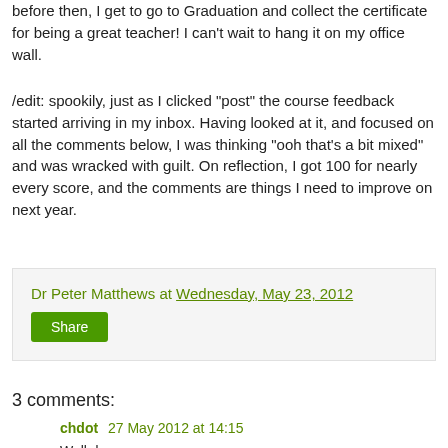before then, I get to go to Graduation and collect the certificate for being a great teacher! I can't wait to hang it on my office wall.
/edit: spookily, just as I clicked "post" the course feedback started arriving in my inbox. Having looked at it, and focused on all the comments below, I was thinking "ooh that's a bit mixed" and was wracked with guilt. On reflection, I got 100 for nearly every score, and the comments are things I need to improve on next year.
Dr Peter Matthews at Wednesday, May 23, 2012
Share
3 comments:
chdot 27 May 2012 at 14:15
Well done.
Where is that depot in your Vimeo vids?
Reply